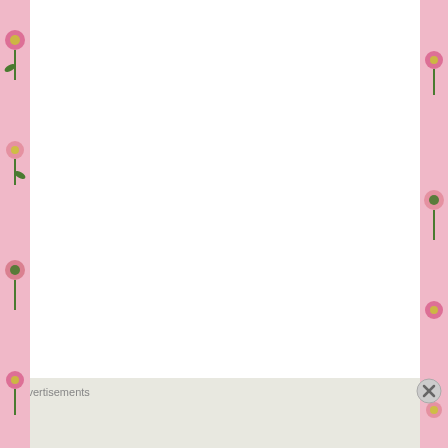Lch Dong 4: The Royal Court
Levitation 101
Light Spirits and Dark Spirits
Linh Chi Dan Dreams
Living Universe
Louche Part 1: Feed Stock for Energy Beings
Louche Part 2: Quantum Tunneling
Louche Part 3: Third Density Barrier
Lumpy Bumpy Humpty Dumpty
Advertisements